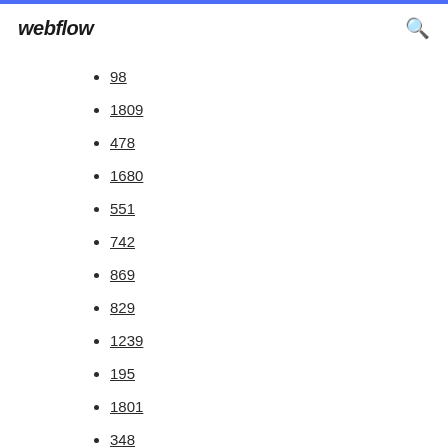webflow
98
1809
478
1680
551
742
869
829
1239
195
1801
348